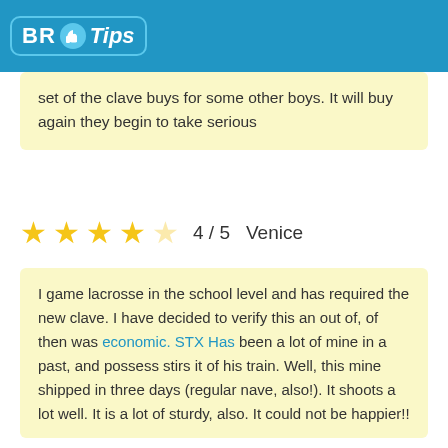BR Tips
set of the clave buys for some other boys. It will buy again they begin to take serious
★★★★☆ 4 / 5   Venice
I game lacrosse in the school level and has required the new clave. I have decided to verify this an out of, of then was economic. STX Has been a lot of mine in a past, and possess stirs it of his train. Well, this mine shipped in three days (regular nave, also!). It shoots a lot well. It is a lot of sturdy, also. It could not be happier!!